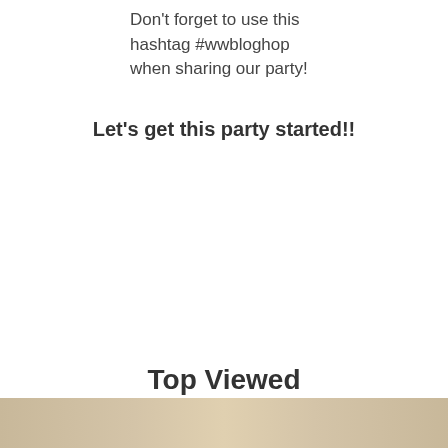Don't forget to use this hashtag #wwbloghop when sharing our party!
Let's get this party started!!
Top Viewed
[Figure (photo): Bottom strip showing a partial photograph, appears to be food or nature image in warm tan/brown tones]